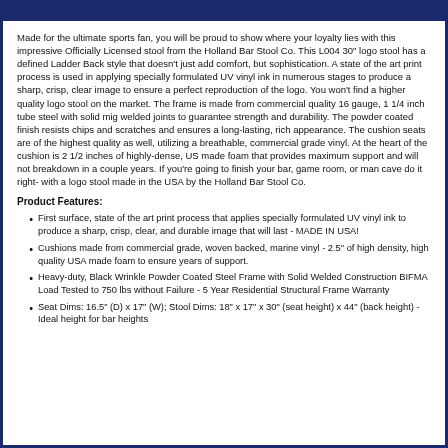Made for the ultimate sports fan, you will be proud to show where your loyalty lies with this impressive Officially Licensed stool from the Holland Bar Stool Co. This L004 30" logo stool has a defined Ladder Back style that doesn't just add comfort, but sophistication. A state of the art print process is used in applying specially formulated UV vinyl ink in numerous stages to produce a sharp, crisp, clear image to ensure a perfect reproduction of the logo. You won't find a higher quality logo stool on the market. The frame is made from commercial quality 16 gauge, 1 1/4 inch tube steel with solid mig welded joints to guarantee strength and durability. The powder coated finish resists chips and scratches and ensures a long-lasting, rich appearance. The cushion seats are of the highest quality as well, utilizing a breathable, commercial grade vinyl. At the heart of the cushion is 2 1/2 inches of highly-dense, US made foam that provides maximum support and will not breakdown in a couple years. If you're going to finish your bar, game room, or man cave do it right- with a logo stool made in the USA by the Holland Bar Stool Co.
Product Features:
First surface, state of the art print process that applies specially formulated UV vinyl ink to produce a sharp, crisp, clear, and durable image that will last - MADE IN USA!
Cushions made from commercial grade, woven backed, marine vinyl - 2.5" of high density, high quality USA made foam to ensure years of support.
Heavy-duty, Black Wrinkle Powder Coated Steel Frame with Solid Welded Construction BIFMA Load Tested to 750 lbs without Failure - 5 Year Residential Structural Frame Warranty
Seat Dims: 16.5" (D) x 17" (W); Stool Dims: 18" x 17" x 30" (seat height) x 44" (back height) - Ideal height for bar heights